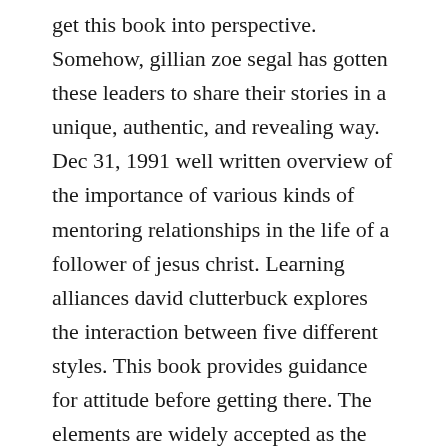get this book into perspective. Somehow, gillian zoe segal has gotten these leaders to share their stories in a unique, authentic, and revealing way. Dec 31, 1991 well written overview of the importance of various kinds of mentoring relationships in the life of a follower of jesus christ. Learning alliances david clutterbuck explores the interaction between five different styles. This book provides guidance for attitude before getting there. The elements are widely accepted as the national and global standards for quality youth mentoring. If i could have just one book